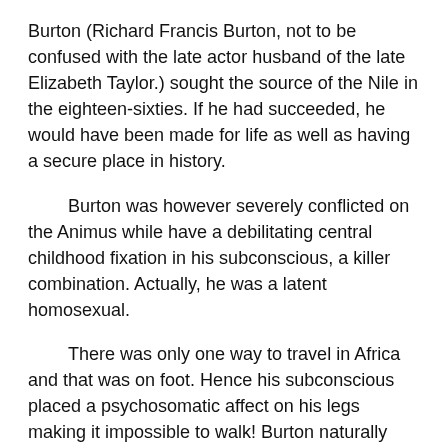Burton (Richard Francis Burton, not to be confused with the late actor husband of the late Elizabeth Taylor.) sought the source of the Nile in the eighteen-sixties.  If he had succeeded, he would have been made for life as well as having a secure place in history.
Burton was however severely conflicted on the Animus while have a debilitating central childhood fixation in his subconscious, a killer combination.  Actually, he was a latent homosexual.
There was only one way to travel in Africa and that was on foot.  Hence his subconscious placed a psychosomatic affect on his legs making it impossible to walk!  Burton naturally failed in his quest but regained the full use of his legs when failure was irremediable.  He never had trouble with his legs again.